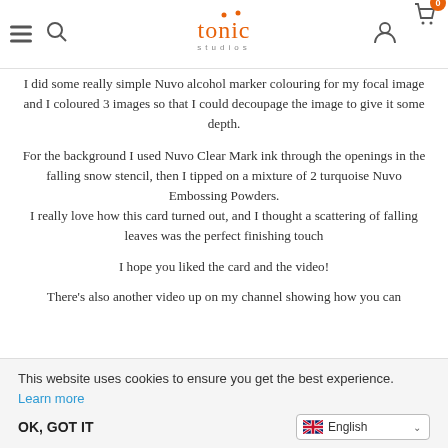Tonic Studios header with hamburger menu, search icon, logo, user icon, and cart icon with badge 0
I did some really simple Nuvo alcohol marker colouring for my focal image and I coloured 3 images so that I could decoupage the image to give it some depth.
For the background I used Nuvo Clear Mark ink through the openings in the falling snow stencil, then I tipped on a mixture of 2 turquoise Nuvo Embossing Powders.
I really love how this card turned out, and I thought a scattering of falling leaves was the perfect finishing touch
I hope you liked the card and the video!
There's also another video up on my channel showing how you can
This website uses cookies to ensure you get the best experience. Learn more
OK, GOT IT